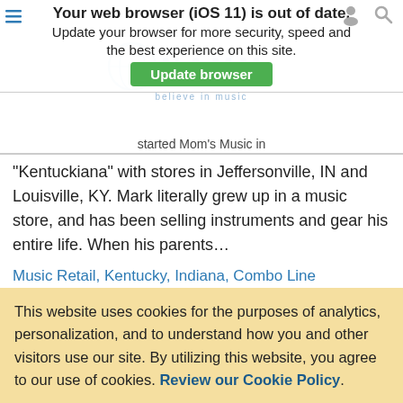Your web browser (iOS 11) is out of date. Update your browser for more security, speed and the best experience on this site. Update browser
started Mom's Music in
"Kentuckiana" with stores in Jeffersonville, IN and Louisville, KY. Mark literally grew up in a music store, and has been selling instruments and gear his entire life. When his parents…
Music Retail, Kentucky, Indiana, Combo Line
Jeremy McQueary
Jeremy McQueary proudly carries on the tradition of
This website uses cookies for the purposes of analytics, personalization, and to understand how you and other visitors use our site. By utilizing this website, you agree to our use of cookies. Review our Cookie Policy.